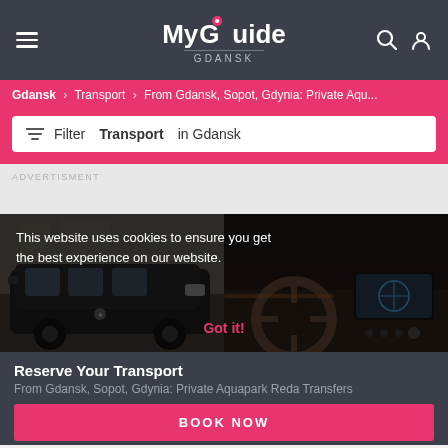My Guide GDANSK
Gdansk > Transport > From Gdansk, Sopot, Gdynia: Private Aqu...
Filter Transport in Gdansk
ADVERTISMENT
[Figure (photo): Black Mercedes van exterior parked on cobblestone street]
[Figure (photo): Interior of luxury car showing steering wheel and dashboard with touchscreen]
This website uses cookies to ensure you get the best experience on our website.
Got it!
Reserve Your Transport
From Gdansk, Sopot, Gdynia: Private Aquapark Reda Transfers
BOOK NOW